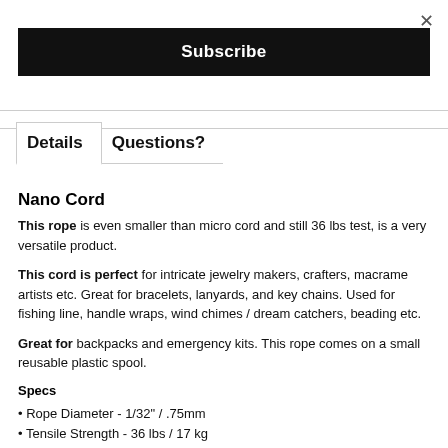×
Subscribe
Details   Questions?
Nano Cord
This rope is even smaller than micro cord and still 36 lbs test, is a very versatile product.
This cord is perfect for intricate jewelry makers, crafters, macrame artists etc. Great for bracelets, lanyards, and key chains. Used for fishing line, handle wraps, wind chimes / dream catchers, beading etc.
Great for backpacks and emergency kits. This rope comes on a small reusable plastic spool.
Specs
• Rope Diameter - 1/32" / .75mm
• Tensile Strength - 36 lbs / 17 kg